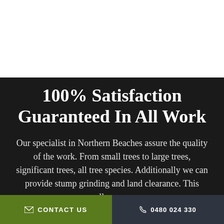100% Satisfaction Guaranteed In All Work
Our specialist in Northern Beaches assure the quality of the work. From small trees to large trees, significant trees, all tree species. Additionally we can provide stump grinding and land clearance. This allows us
✉ CONTACT US   ☎ 0480 024 330